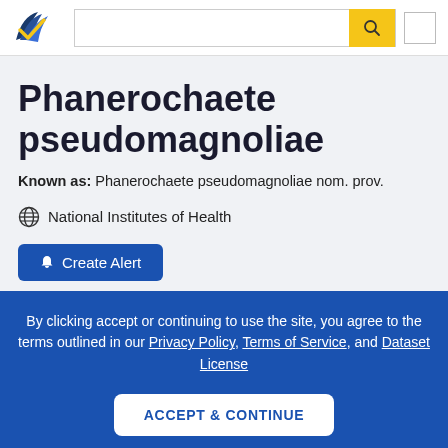Semantic Scholar header with logo, search bar, and menu button
Phanerochaete pseudomagnoliae
Known as: Phanerochaete pseudomagnoliae nom. prov.
National Institutes of Health
Create Alert
By clicking accept or continuing to use the site, you agree to the terms outlined in our Privacy Policy, Terms of Service, and Dataset License
ACCEPT & CONTINUE